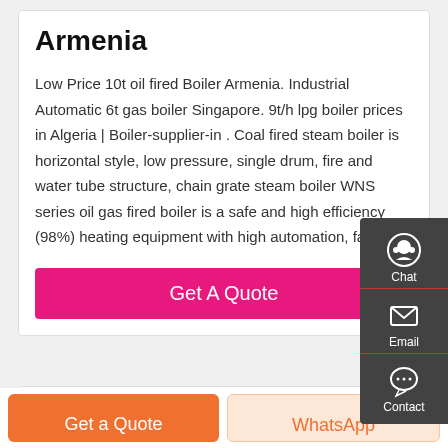Armenia
Low Price 10t oil fired Boiler Armenia. Industrial Automatic 6t gas boiler Singapore. 9t/h lpg boiler prices in Algeria | Boiler-supplier-in . Coal fired steam boiler is horizontal style, low pressure, single drum, fire and water tube structure, chain grate steam boiler WNS series oil gas fired boiler is a safe and high efficiency (98%) heating equipment with high automation, fast …
[Figure (infographic): Sidebar contact widget with dark grey background showing three items: Chat (headset icon), Email (envelope icon), Contact (speech bubble icon), separated by red dividers]
Get A Quote
Get a Quote
WhatsApp